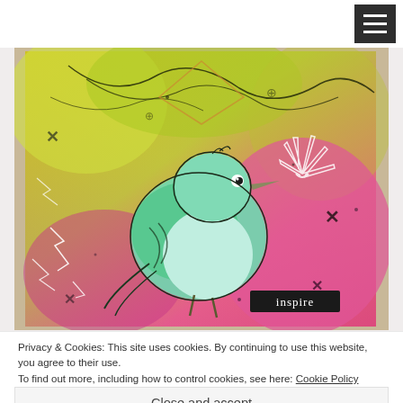[Figure (photo): Colorful mixed media art card featuring a small bird (wren/robin style) with teal and green coloring, on a vibrant background of pink, magenta, and yellow-green with stamp patterns and cross motifs, with a small black label reading 'inspire' in white text]
Privacy & Cookies: This site uses cookies. By continuing to use this website, you agree to their use.
To find out more, including how to control cookies, see here: Cookie Policy
Close and accept